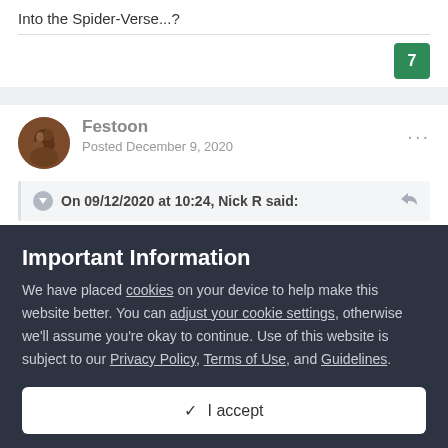Into the Spider-Verse...?
7
Festoon
Posted December 9, 2020
On 09/12/2020 at 10:24, Nick R said:
Important Information
We have placed cookies on your device to help make this website better. You can adjust your cookie settings, otherwise we'll assume you're okay to continue. Use of this website is subject to our Privacy Policy, Terms of Use, and Guidelines.
I accept